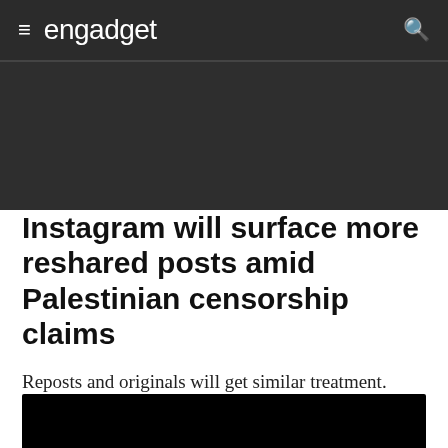engadget
Instagram will surface more reshared posts amid Palestinian censorship claims
Reposts and originals will get similar treatment.
J. Fingas
05.30.21
[Figure (photo): Black image at bottom of article page]